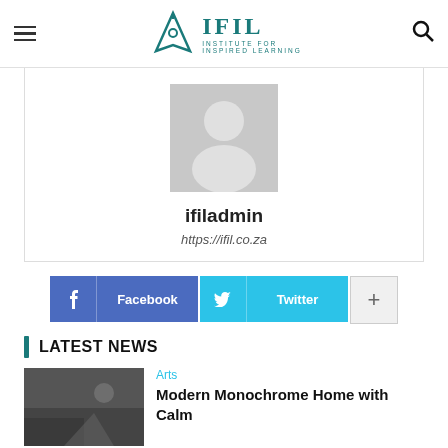[Figure (logo): IFIL Institute for Inspired Learning logo with pen nib icon]
[Figure (photo): Default user avatar placeholder (grey silhouette on grey background)]
ifiladmin
https://ifil.co.za
Facebook
Twitter
LATEST NEWS
Arts
Modern Monochrome Home with Calm